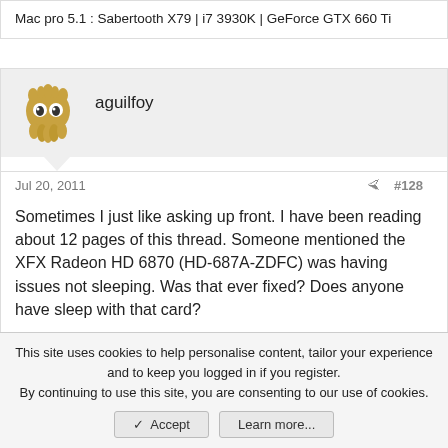Mac pro 5.1 :  Sabertooth X79  |  i7 3930K  |  GeForce GTX 660 Ti
aguilfoy
Jul 20, 2011
#128
Sometimes I just like asking up front. I have been reading about 12 pages of this thread. Someone mentioned the XFX Radeon HD 6870 (HD-687A-ZDFC) was having issues not sleeping. Was that ever fixed? Does anyone have sleep with that card?
macspear
This site uses cookies to help personalise content, tailor your experience and to keep you logged in if you register. By continuing to use this site, you are consenting to our use of cookies.
Accept
Learn more...